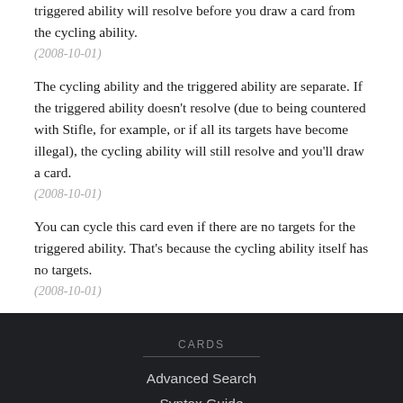triggered ability will resolve before you draw a card from the cycling ability.
(2008-10-01)
The cycling ability and the triggered ability are separate. If the triggered ability doesn't resolve (due to being countered with Stifle, for example, or if all its targets have become illegal), the cycling ability will still resolve and you'll draw a card.
(2008-10-01)
You can cycle this card even if there are no targets for the triggered ability. That's because the cycling ability itself has no targets.
(2008-10-01)
CARDS
Advanced Search
Syntax Guide
All Sets
Random Card
SCRYFALL
Slack & Discord Bots